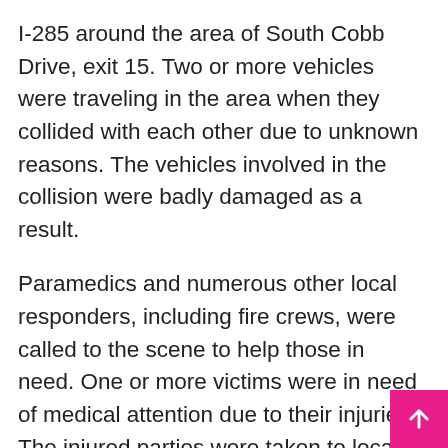I-285 around the area of South Cobb Drive, exit 15. Two or more vehicles were traveling in the area when they collided with each other due to unknown reasons. The vehicles involved in the collision were badly damaged as a result.
Paramedics and numerous other local responders, including fire crews, were called to the scene to help those in need. One or more victims were in need of medical attention due to their injuries. The injured parties were taken to local hospitals for treatment of unknown injuries.
One left lane of traffic was blocked in the area. Police quickly worked to clear the scene so that delays could end.